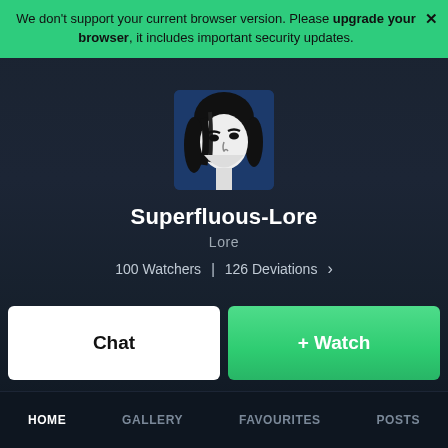We don't support your current browser version. Please upgrade your browser, it includes important security updates.
[Figure (illustration): Profile avatar: stylized black and white illustration of a woman's face on a dark blue background]
Superfluous-Lore
Lore
100 Watchers  |  126 Deviations  >  •••
Chat
+ Watch
HOME   GALLERY   FAVOURITES   POSTS